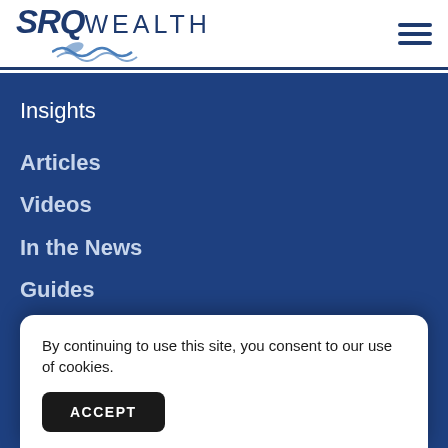[Figure (logo): SRQ WEALTH logo with wave/leaf icon in navy blue]
[Figure (other): Hamburger menu icon (three horizontal lines)]
Insights
Articles
Videos
In the News
Guides
Glossary
By continuing to use this site, you consent to our use of cookies.
ACCEPT